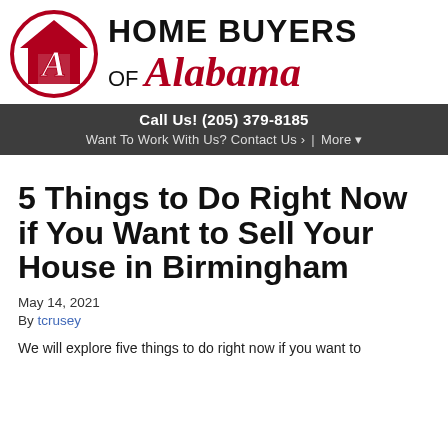[Figure (logo): Home Buyers of Alabama logo with red house icon containing a stylized A, and company name text]
Call Us! (205) 379-8185
Want To Work With Us? Contact Us › More ▾
5 Things to Do Right Now if You Want to Sell Your House in Birmingham
May 14, 2021
By tcrusey
We will explore five things to do right now if you want to